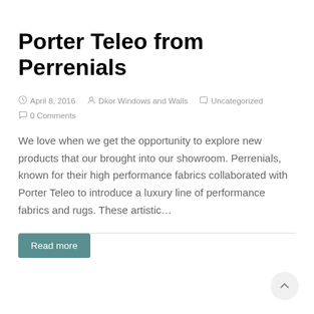Porter Teleo from Perrenials
April 8, 2016   Dkor Windows and Walls   Uncategorized   0 Comments
We love when we get the opportunity to explore new products that our brought into our showroom.  Perrenials, known for their high performance fabrics collaborated with Porter Teleo to introduce a luxury line of performance fabrics and rugs.  These artistic…
Read more